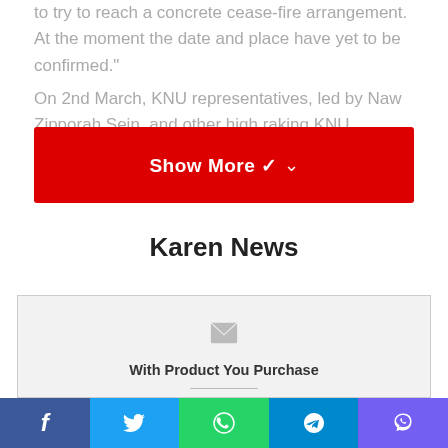to try to reach a concrete cease-fire arrangement. At the moment the date and place have yet to be confirmed."
On 2nd March, KNU representatives, led by Naw Zipporah Sein, and other high raking KNU executive members P'doh
[Figure (other): Red 'Show More' button with a downward chevron arrow]
Karen News
[Figure (other): Email subscription box with envelope icon and text 'With Product You Purchase' followed by a horizontal separator]
Social sharing bar: Facebook, Twitter, WhatsApp, Telegram, Viber